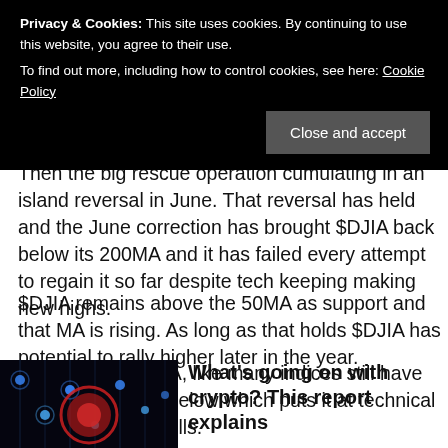Privacy & Cookies: This site uses cookies. By continuing to use this website, you agree to their use. To find out more, including how to control cookies, see here: Cookie Policy
Then the big rescue operation cumulating in an island reversal in June. That reversal has held and the June correction has brought $DJIA back below its 200MA and it has failed every attempt to regain it so far despite tech keeping making new highs.
$DJIA remains above the 50MA as support and that MA is rising. As long as that holds $DJIA has potential to rally higher later in the year.
But note the $DJIA, like many indices still have many open gaps below which puts it at technical risk of future gap fills.
[Figure (photo): Dark blue glowing digital/tech themed image with red circular element in center]
What's going on with crypto? This report explains